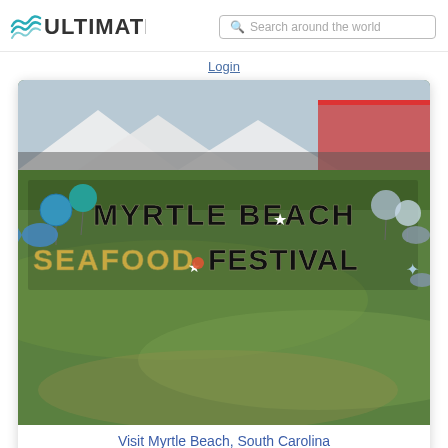[Figure (logo): Ultimate logo with teal wave icon and text ULTIMATE in dark gray]
[Figure (other): Search bar with magnifying glass icon and placeholder text 'Search around the world']
Login
[Figure (photo): Photo of Myrtle Beach Seafood Festival outdoor sign on a green grass lawn with festival tents in the background. Large letters spelling MYRTLE BEACH SEAFOOD FESTIVAL with colorful decorations including balloons, crabs, stars, and sea creatures.]
Visit Myrtle Beach, South Carolina